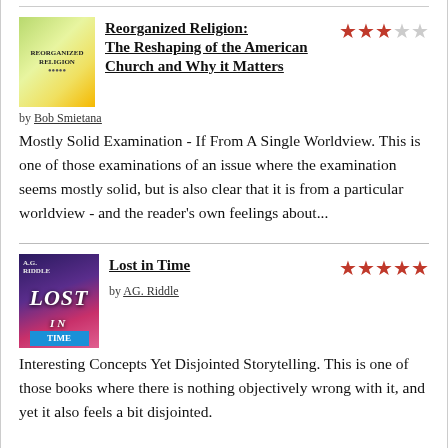Reorganized Religion: The Reshaping of the American Church and Why it Matters — 3 out of 5 stars — by Bob Smietana
Mostly Solid Examination - If From A Single Worldview. This is one of those examinations of an issue where the examination seems mostly solid, but is also clear that it is from a particular worldview - and the reader's own feelings about...
Lost in Time — 5 out of 5 stars — by AG. Riddle
Interesting Concepts Yet Disjointed Storytelling. This is one of those books where there is nothing objectively wrong with it, and yet it also feels a bit disjointed.